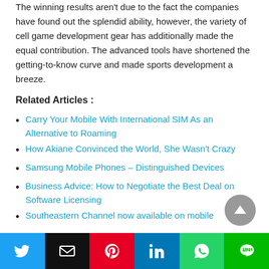The winning results aren't due to the fact the companies have found out the splendid ability, however, the variety of cell game development gear has additionally made the equal contribution. The advanced tools have shortened the getting-to-know curve and made sports development a breeze.
Related Articles :
Carry Your Mobile With International SIM As an Alternative to Roaming
How Akiane Convinced the World, She Wasn't Crazy
Samsung Mobile Phones – Distinguished Devices
Business Advice: How to Negotiate the Best Deal on Software Licensing
Southeastern Channel now available on mobile
Share buttons: Twitter, Email, Pinterest, LinkedIn, WhatsApp, Line